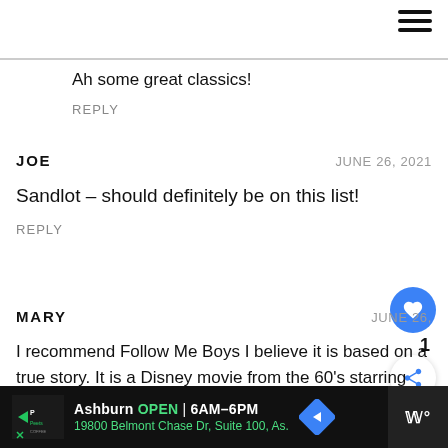[Figure (other): Hamburger menu icon (three horizontal bars) in top right corner]
Ah some great classics!
REPLY
JOE
JUNE 26, 2021
Sandlot – should definitely be on this list!
REPLY
MARY
JUNE 26,
I recommend Follow Me Boys I believe it is based on a true story. It is a Disney movie from the 60's starring Kurt Russell.
REPLY
WHAT'S NEXT → How to Apply Removable...
Ashburn  OPEN | 6AM–6PM  19800 Belmont Chase Dr, Suite 100, As.